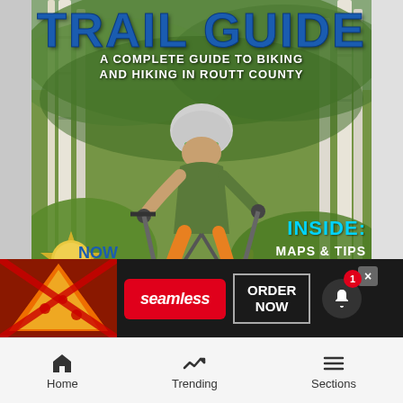[Figure (photo): Book cover for a Trail Guide — A Complete Guide to Biking and Hiking in Routt County, showing a mountain biker riding on a dirt trail through aspen forest. Cover shows text 'TRAIL GUIDE', subtitle 'A COMPLETE GUIDE TO BIKING AND HIKING IN ROUTT COUNTY', 'INSIDE: MAPS & TIPS', 'FAMILY FUN', 'NOW MORE', a gold badge. App UI overlays including a Seamless food delivery ad banner and bottom navigation bar with Home, Trending, Sections.]
TRAIL GUIDE
A COMPLETE GUIDE TO BIKING AND HIKING IN ROUTT COUNTY
INSIDE: MAPS & TIPS FAMILY FUN
NOW MORE
[Figure (screenshot): Seamless food delivery advertisement banner showing pizza image on left, red Seamless button in center, and ORDER NOW button on right]
Home  Trending  Sections